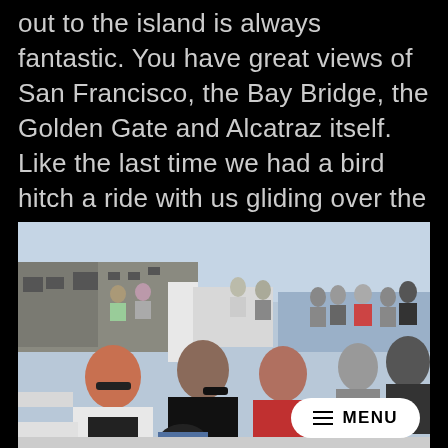out to the island is always fantastic. You have great views of San Francisco, the Bay Bridge, the Golden Gate and Alcatraz itself. Like the last time we had a bird hitch a ride with us gliding over the boat – they must do that to all of them.
[Figure (photo): Group of tourists seated on the open deck of a ferry boat, smiling and posing for the camera, with Alcatraz island buildings and the San Francisco Bay visible in the background. A white 'MENU' button overlay is visible in the bottom right corner.]